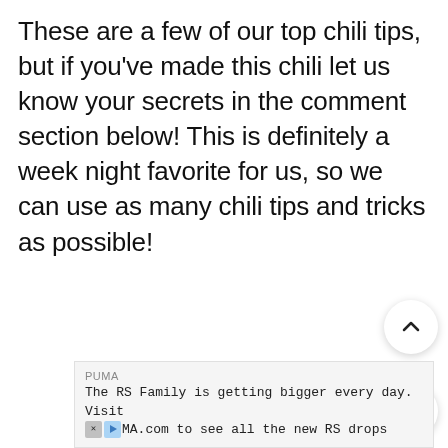These are a few of our top chili tips, but if you've made this chili let us know your secrets in the comment section below! This is definitely a week night favorite for us, so we can use as many chili tips and tricks as possible!
[Figure (other): UI overlay buttons: up-arrow button, count label '405', heart button, search button (black circle)]
PUMA
The RS Family is getting bigger every day. Visit MA.com to see all the new RS drops